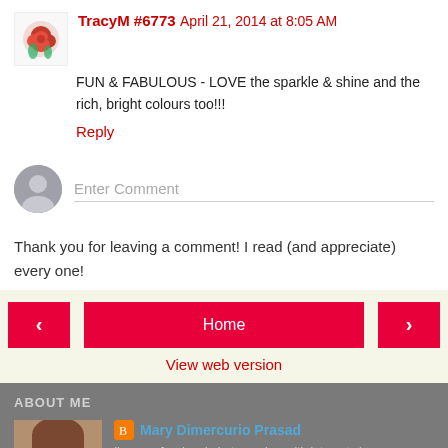TracyM #6773   April 21, 2014 at 8:05 AM
FUN & FABULOUS - LOVE the sparkle & shine and the rich, bright colours too!!!
Reply
Enter Comment
Thank you for leaving a comment! I read (and appreciate) every one!
Home
View web version
ABOUT ME
Mary Dimercurio Prasad
I'm a professional photographer with interests in an